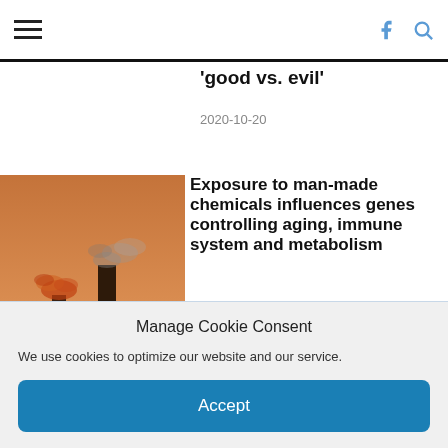Navigation bar with hamburger menu, Facebook and search icons
'good vs. evil'
2020-10-20
[Figure (photo): Industrial smokestacks emitting smoke against an orange sunset sky]
Exposure to man-made chemicals influences genes controlling aging, immune system and metabolism
2020-10-18
Manage Cookie Consent
We use cookies to optimize our website and our service.
Accept